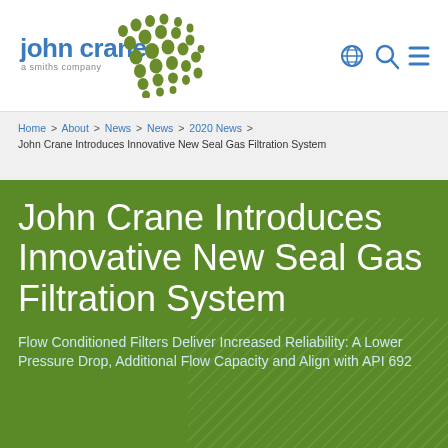[Figure (logo): John Crane – a Smiths company logo with stylized green dot pattern]
[Figure (infographic): Navigation icons: globe, search magnifier, hamburger menu in blue]
Home > About > News > News > 2020 News > John Crane Introduces Innovative New Seal Gas Filtration System
John Crane Introduces Innovative New Seal Gas Filtration System
Flow Conditioned Filters Deliver Increased Reliability: A Lower Pressure Drop, Additional Flow Capacity and Align with API 692